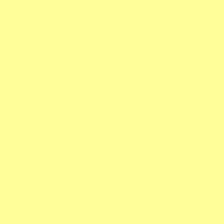| Date | Artist |
| --- | --- |
| 25-Mar-13 | Bear In Heav... |
| 1-Apr-13 | Bear In Heav... |
| 8-Apr-13 | Bear In Heav... |
| 15-Apr-13 | Bear In Heav... |
| 22-Apr-13 | Bear In Heav... |
| 29-Apr-13 | Midnight Jug... |
| 6-May-13 | Midnight Jug... |
| 13-May-13 | Midnight Jug... |
| 20-May-13 | I Know The C... |
| 27-May-13 | I Know The C... |
| 3-Jun-13 | Midnight Jug... |
| 10-Jun-13 | Midnight Jug... |
| 17-Jun-13 | Midnight Jug... |
| 24-Jun-13 | Washed Out... |
| 1-Jul-13 | Arctic Monke... |
| 8-Jul-13 | Franz Ferdin... |
| 15-Jul-13 | Franz Ferdin... |
| 22-Jul-13 | Franz Ferdin... |
| 29-Jul-13 | Franz Ferdin... |
| 5-Aug-13 | Franz Ferdin... |
| 12-Aug-13 | Nick Cave &... |
| 19-Aug-13 | Nick Cave &... |
| 26-Aug-13 | Nick Cave &... |
| 2-Sep-13 | Nick Cave &... |
| 9-Sep-13 | Franz Ferdin... |
| 16-Sep-13 | Davey Lane ... |
| 23-Sep-13 | Arcade Fire -... |
| 30-Sep-13 | Arcade Fire -... |
| 7-Oct-13 | Arcade Fire -... |
| 14-Oct-13 | Arcade Fire -... |